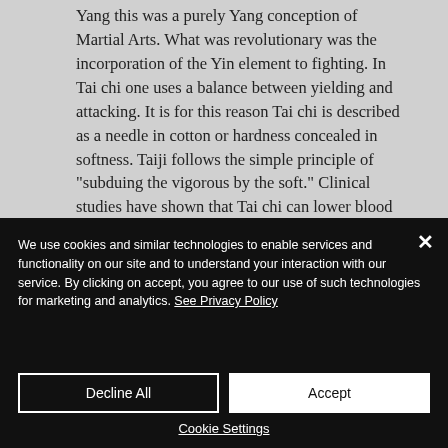Yang this was a purely Yang conception of Martial Arts. What was revolutionary was the incorporation of the Yin element to fighting. In Tai chi one uses a balance between yielding and attacking. It is for this reason Tai chi is described as a needle in cotton or hardness concealed in softness. Taiji follows the simple principle of "subduing the vigorous by the soft." Clinical studies have shown that Tai chi can lower blood pressure, reduce nervous tension and benefit the immune, digestive, cardiovascular and respiratory systems and is all round good for keeping your body young and healthy.
We use cookies and similar technologies to enable services and functionality on our site and to understand your interaction with our service. By clicking on accept, you agree to our use of such technologies for marketing and analytics. See Privacy Policy
Decline All
Accept
Cookie Settings